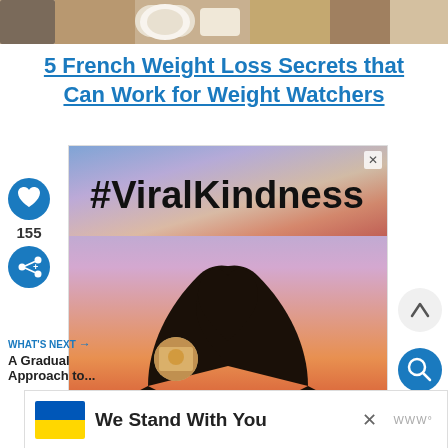[Figure (photo): Top partial image of food/coffee items on a table]
5 French Weight Loss Secrets that Can Work for Weight Watchers
[Figure (screenshot): Advertisement showing #ViralKindness with silhouette of hands forming a heart shape against a colorful sunset sky]
155
WHAT'S NEXT → A Gradual Approach to...
[Figure (photo): We Stand With You banner with Ukrainian flag colors (blue and yellow)]